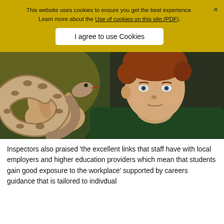This website uses cookies to ensure you get the best experience. Learn more about the Use of cookies on this site.(PDF).
I agree to use Cookies
[Figure (photo): A young man with reddish-brown hair holding a brown and white snake (boa constrictor) up near his face, wearing a green top. Background is dark green/yellow tones.]
Inspectors also praised ‘the excellent links that staff have with local employers and higher education providers which mean that students gain good exposure to the workplace’ supported by careers guidance that is tailored to indivdual